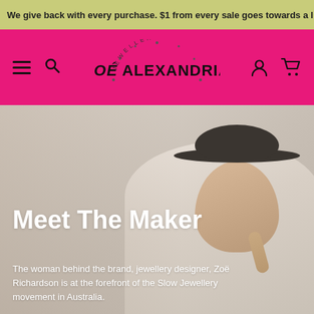We give back with every purchase. $1 from every sale goes towards a life c...
[Figure (screenshot): Website navigation bar with pink/magenta background. Hamburger menu icon, search icon on left. Center: Zoe Alexandria Jewellery logo. Right: account and cart icons.]
[Figure (photo): Hero section showing a woman wearing a wide-brimmed dark hat and white blouse, smiling, posing for jewellery brand. Background is light/neutral.]
Meet The Maker
The woman behind the brand, jewellery designer, Zoë Richardson is at the forefront of the Slow Jewellery movement in Australia.